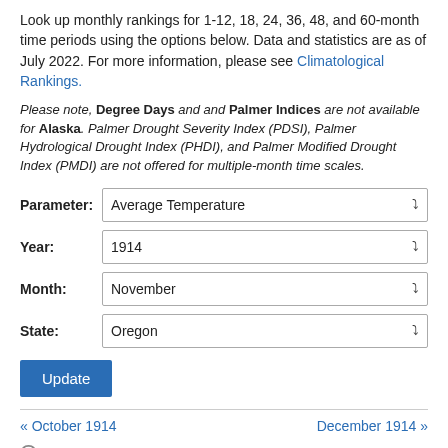Look up monthly rankings for 1-12, 18, 24, 36, 48, and 60-month time periods using the options below. Data and statistics are as of July 2022. For more information, please see Climatological Rankings.
Please note, Degree Days and Palmer Indices are not available for Alaska. Palmer Drought Severity Index (PDSI), Palmer Hydrological Drought Index (PHDI), and Palmer Modified Drought Index (PMDI) are not offered for multiple-month time scales.
Parameter: Average Temperature
Year: 1914
Month: November
State: Oregon
Update
« October 1914
December 1914 »
Oregon